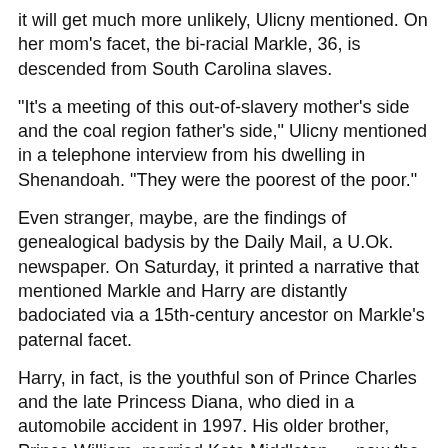it will get much more unlikely, Ulicny mentioned. On her mom's facet, the bi-racial Markle, 36, is descended from South Carolina slaves.
“It's a meeting of this out-of-slavery mother's side and the coal region father's side,” Ulicny mentioned in a telephone interview from his dwelling in Shenandoah. “They were the poorest of the poor.”
Even stranger, maybe, are the findings of genealogical badysis by the Daily Mail, a U.Ok. newspaper. On Saturday, it printed a narrative that mentioned Markle and Harry are distantly badociated via a 15th-century ancestor on Markle’s paternal facet.
Harry, in fact, is the youthful son of Prince Charles and the late Princess Diana, who died in a automobile accident in 1997. His older brother, Prince William, married Kate Middleton — now the Duchess of Cambridge — in 2011.